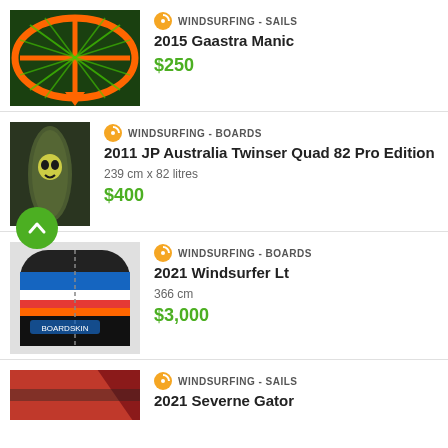[Figure (photo): Orange and green windsurfing sail]
WINDSURFING - SAILS
2015 Gaastra Manic
$250
[Figure (photo): JP Australia Twinser Quad 82 Pro Edition windsurfing board]
WINDSURFING - BOARDS
2011 JP Australia Twinser Quad 82 Pro Edition
239 cm x 82 litres
$400
[Figure (photo): 2021 Windsurfer Lt board in bag, blue white red orange stripes]
WINDSURFING - BOARDS
2021 Windsurfer Lt
366 cm
$3,000
[Figure (photo): Red windsurfing sail partial view]
WINDSURFING - SAILS
2021 Severne Gator